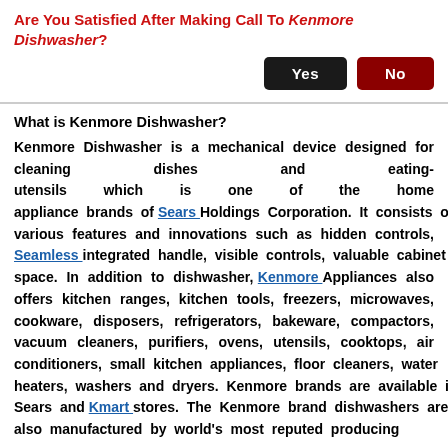Are You Satisfied After Making Call To Kenmore Dishwasher?
Yes | No (buttons)
What is Kenmore Dishwasher?
Kenmore Dishwasher is a mechanical device designed for cleaning dishes and eating-utensils which is one of the home appliance brands of Sears Holdings Corporation. It consists of various features and innovations such as hidden controls, Seamless integrated handle, visible controls, valuable cabinet space. In addition to dishwasher, Kenmore Appliances also offers kitchen ranges, kitchen tools, freezers, microwaves, cookware, disposers, refrigerators, bakeware, compactors, vacuum cleaners, purifiers, ovens, utensils, cooktops, air conditioners, small kitchen appliances, floor cleaners, water heaters, washers and dryers. Kenmore brands are available in all Sears and Kmart stores. The Kenmore brand dishwashers are also manufactured by world's most reputed producing